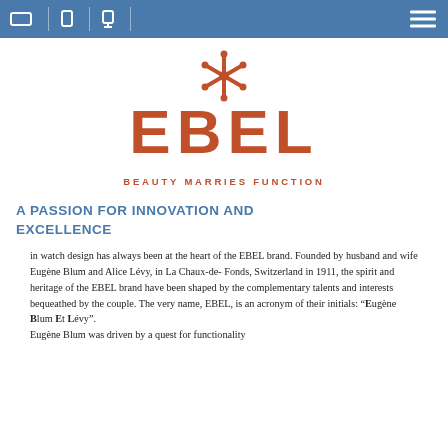[Navigation bar with logo/search icons and hamburger menu]
[Figure (logo): EBEL brand logo with asterisk-like X symbol above stylized EBEL text in terracotta/rust color, with tagline BEAUTY MARRIES FUNCTION below]
A PASSION FOR INNOVATION AND EXCELLENCE
in watch design has always been at the heart of the EBEL brand. Founded by husband and wife Eugène Blum and Alice Lévy, in La Chaux-de- Fonds, Switzerland in 1911, the spirit and heritage of the EBEL brand have been shaped by the complementary talents and interests bequeathed by the couple. The very name, EBEL, is an acronym of their initials: “Eugène Blum Et Lévy”. Eugène Blum was driven by a quest for functionality